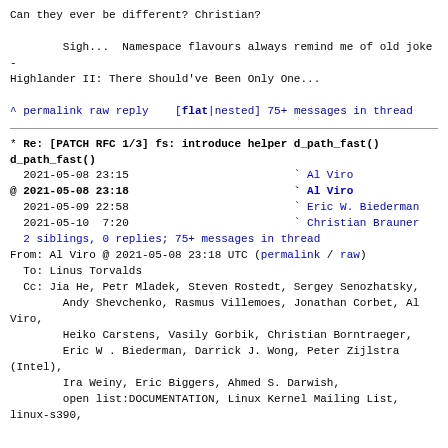Can they ever be different?  Christian?

        Sigh...  Namespace flavours always remind me of old joke -
Highlander II: There Should've Been Only One...
^ permalink raw reply    [flat|nested] 75+ messages in thread
* Re: [PATCH RFC 1/3] fs: introduce helper d_path_fast()
  2021-05-08 23:15                             ` Al Viro
@ 2021-05-08 23:18                             ` Al Viro
  2021-05-09 22:58                             ` Eric W. Biederman
  2021-05-10  7:20                             ` Christian Brauner
  2 siblings, 0 replies; 75+ messages in thread
From: Al Viro @ 2021-05-08 23:18 UTC (permalink / raw)
  To: Linus Torvalds
  Cc: Jia He, Petr Mladek, Steven Rostedt, Sergey Senozhatsky,
        Andy Shevchenko, Rasmus Villemoes, Jonathan Corbet, Al Viro,
        Heiko Carstens, Vasily Gorbik, Christian Borntraeger,
        Eric W . Biederman, Darrick J. Wong, Peter Zijlstra (Intel),
        Ira Weiny, Eric Biggers, Ahmed S. Darwish,
        open list:DOCUMENTATION, Linux Kernel Mailing List, linux-s390,